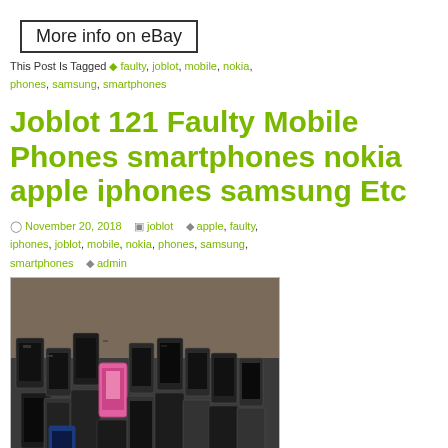[Figure (other): eBay button with text 'More info on eBay']
This Post Is Tagged 🏷 faulty, joblot, mobile, nokia, phones, samsung, smartphones
Joblot 121 Faulty Mobile Phones smartphones nokia apple iphones samsung Etc
November 20, 2018   joblot   apple, faulty, iphones, joblot, mobile, nokia, phones, samsung, smartphones   admin
[Figure (photo): A large pile of various faulty mobile phones and smartphones stacked together, including a visible pink phone in the center]